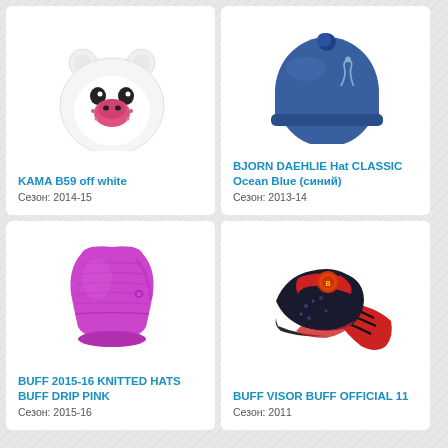[Figure (photo): White bear-face knit hat with pom-pom ears and pink nose]
KAMA B59 off white
Сезон: 2014-15
[Figure (photo): Blue fleece beanie hat with small pom-pom on top and bird logo]
BJORN DAEHLIE Hat CLASSIC Ocean Blue (синий)
Сезон: 2013-14
[Figure (photo): Bright pink/magenta knitted slouch beanie hat]
BUFF 2015-16 KNITTED HATS BUFF DRIP PINK
Сезон: 2015-16
[Figure (photo): Black and red visor buff cap with sequins and bandana style back]
BUFF VISOR BUFF OFFICIAL 11
Сезон: 2011